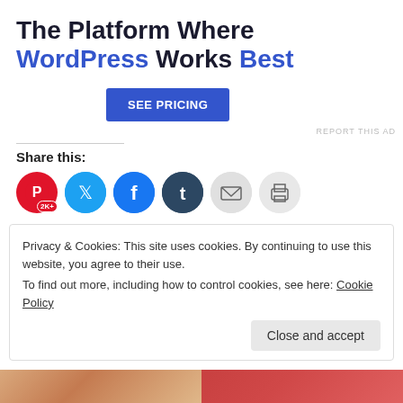The Platform Where WordPress Works Best
[Figure (other): Blue 'SEE PRICING' button for a web hosting advertisement]
REPORT THIS AD
Share this:
[Figure (infographic): Social sharing icon buttons: Pinterest (2K+), Twitter, Facebook, Tumblr, Email, Print]
Privacy & Cookies: This site uses cookies. By continuing to use this website, you agree to their use. To find out more, including how to control cookies, see here: Cookie Policy
[Figure (other): Close and accept button for cookie consent bar]
[Figure (photo): Two partial thumbnail images at the bottom of the page]